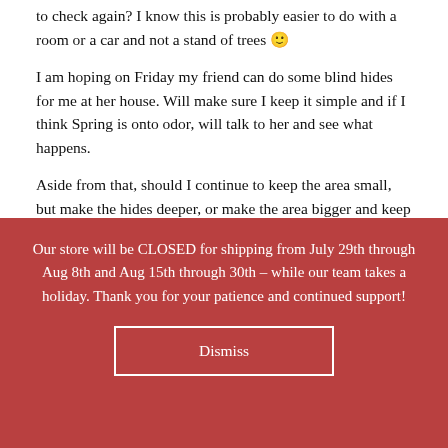to check again? I know this is probably easier to do with a room or a car and not a stand of trees 🙂
I am hoping on Friday my friend can do some blind hides for me at her house. Will make sure I keep it simple and if I think Spring is onto odor, will talk to her and see what happens.
Aside from that, should I continue to keep the area small, but make the hides deeper, or make the area bigger and keep the hides the same depth? With losing the light I did have a hard time finding them, so will need to mark them, but thankfully Spring found them.
Thanks again,
Our store will be CLOSED for shipping from July 29th through Aug 8th and Aug 15th through 30th – while our team takes a holiday. Thank you for your patience and continued support!
Dismiss